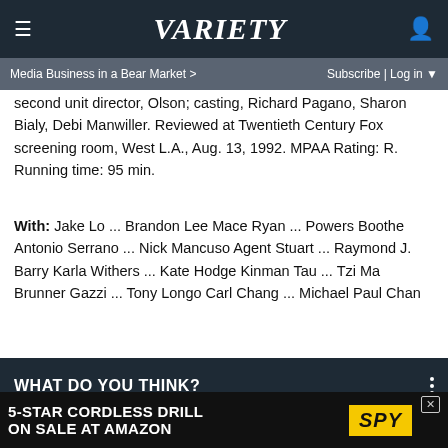Variety — Media Business in a Bear Market > | Subscribe | Log in
second unit director, Olson; casting, Richard Pagano, Sharon Bialy, Debi Manwiller. Reviewed at Twentieth Century Fox screening room, West L.A., Aug. 13, 1992. MPAA Rating: R. Running time: 95 min.
With: Jake Lo ... Brandon Lee Mace Ryan ... Powers Boothe Antonio Serrano ... Nick Mancuso Agent Stuart ... Raymond J. Barry Karla Withers ... Kate Hodge Kinman Tau ... Tzi Ma Brunner Gazzi ... Tony Longo Carl Chang ... Michael Paul Chan
WHAT DO YOU THINK?
How would you rank 'Knives Out' among all mystery movies?
At or near the top
[Figure (screenshot): Advertisement banner: 5-STAR CORDLESS DRILL ON SALE AT AMAZON with SPY logo]